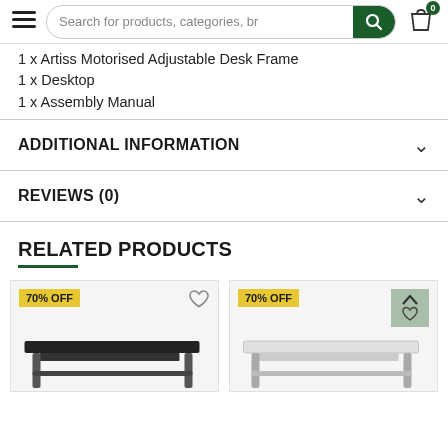Search for products, categories, br
1 x Artiss Motorised Adjustable Desk Frame
1 x Desktop
1 x Assembly Manual
ADDITIONAL INFORMATION
REVIEWS (0)
RELATED PRODUCTS
[Figure (photo): Black computer desk with keyboard tray, 70% OFF badge]
[Figure (photo): White computer desk with keyboard tray, 70% OFF badge]